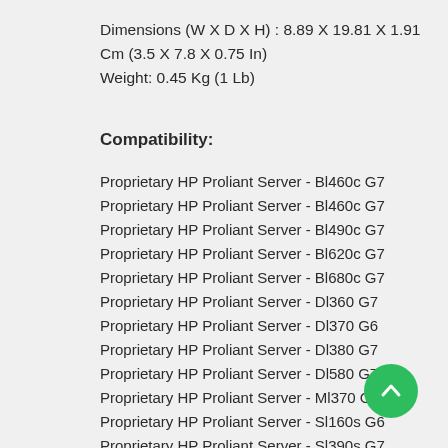Dimensions (W X D X H) : 8.89 X 19.81 X 1.91 Cm (3.5 X 7.8 X 0.75 In)
Weight: 0.45 Kg (1 Lb)
Compatibility:
Proprietary HP Proliant Server - Bl460c G7
Proprietary HP Proliant Server - Bl460c G7
Proprietary HP Proliant Server - Bl490c G7
Proprietary HP Proliant Server - Bl620c G7
Proprietary HP Proliant Server - Bl680c G7
Proprietary HP Proliant Server - Dl360 G7
Proprietary HP Proliant Server - Dl370 G6
Proprietary HP Proliant Server - Dl380 G7
Proprietary HP Proliant Server - Dl580 G7
Proprietary HP Proliant Server - Ml370 G6
Proprietary HP Proliant Server - Sl160s G6
Proprietary HP Proliant Server - Sl390s G7